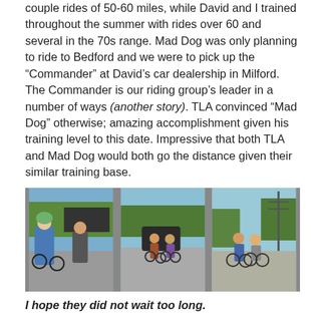couple rides of 50-60 miles, while David and I trained throughout the summer with rides over 60 and several in the 70s range. Mad Dog was only planning to ride to Bedford and we were to pick up the “Commander” at David’s car dealership in Milford. The Commander is our riding group’s leader in a number of ways (another story). TLA convinced “Mad Dog” otherwise; amazing accomplishment given his training level to this date. Impressive that both TLA and Mad Dog would both go the distance given their similar training base.
[Figure (photo): Three side-by-side photos of cyclists stopped on a road. Left: two cyclists in gear standing by bikes. Center: group of cyclists with a car on a rural road. Right: two cyclists on road with utility poles and trees.]
I hope they did not wait too long.